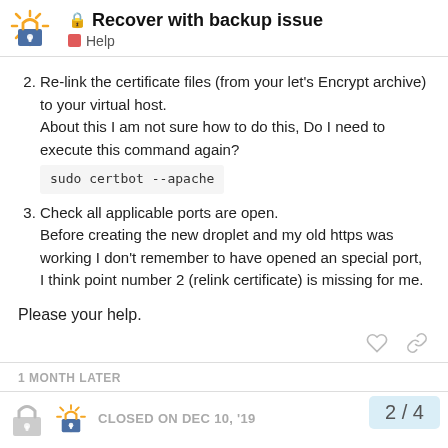🔒 Recover with backup issue — Help
2. Re-link the certificate files (from your let's Encrypt archive) to your virtual host.
About this I am not sure how to do this, Do I need to execute this command again?
sudo certbot --apache
3. Check all applicable ports are open.
Before creating the new droplet and my old https was working I don't remember to have opened an special port, I think point number 2 (relink certificate) is missing for me.
Please your help.
1 MONTH LATER
CLOSED ON DEC 10, '19
2 / 4